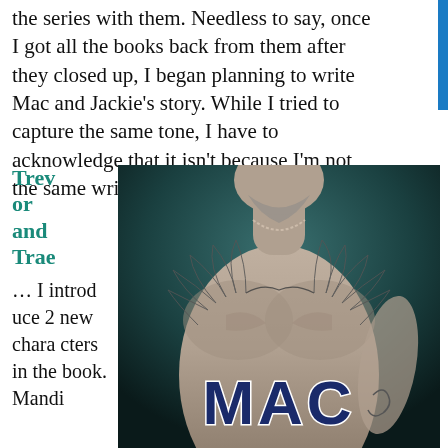the series with them. Needless to say, once I got all the books back from them after they closed up, I began planning to write Mac and Jackie's story. While I tried to capture the same tone, I have to acknowledge that it isn't because I'm not the same writer I was then.
Trevor and Trae ... I introduce 2 new characters in the book. Mandi
[Figure (photo): Book cover for MAC showing a shirtless muscular man with wing tattoos on his chest, wearing a chain necklace, black and white photo with teal/dark background, large bold dark blue text 'MAC' at bottom]